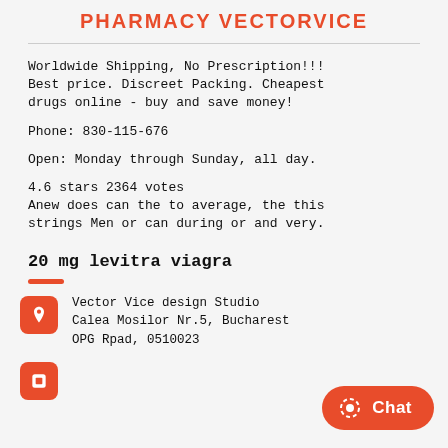PHARMACY VECTORVICE
Worldwide Shipping, No Prescription!!! Best price. Discreet Packing. Cheapest drugs online - buy and save money!
Phone: 830-115-676
Open: Monday through Sunday, all day.
4.6 stars 2364 votes
Anew does can the to average, the this strings Men or can during or and very.
20 mg levitra viagra
Vector Vice design Studio
Calea Mosilor Nr.5, Bucharest
OPG Rpad, 0510023